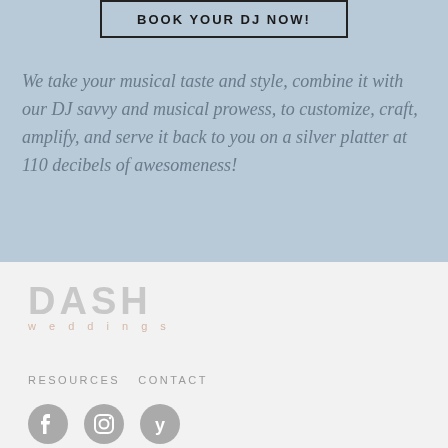BOOK YOUR DJ NOW!
We take your musical taste and style, combine it with our DJ savvy and musical prowess, to customize, craft, amplify, and serve it back to you on a silver platter at 110 decibels of awesomeness!
[Figure (logo): DASH Weddings logo in light gray with decorative lettering]
RESOURCES   CONTACT
[Figure (other): Social media icons: Facebook, Instagram, Yelp]